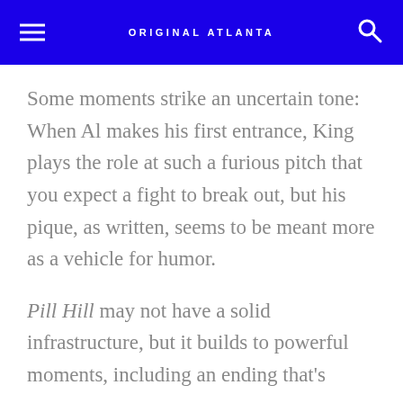ORIGINAL ATLANTA
Some moments strike an uncertain tone: When Al makes his first entrance, King plays the role at such a furious pitch that you expect a fight to break out, but his pique, as written, seems to be meant more as a vehicle for humor.
Pill Hill may not have a solid infrastructure, but it builds to powerful moments, including an ending that's